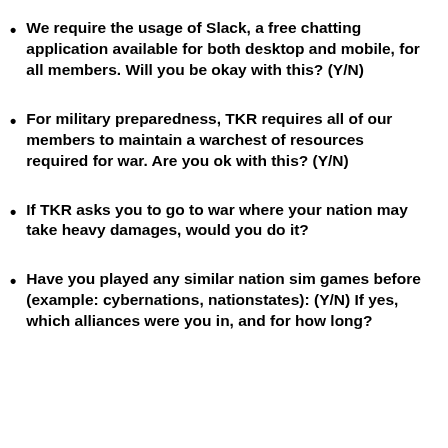We require the usage of Slack, a free chatting application available for both desktop and mobile, for all members. Will you be okay with this? (Y/N)
For military preparedness, TKR requires all of our members to maintain a warchest of resources required for war.  Are you ok with this? (Y/N)
If TKR asks you to go to war where your nation may take heavy damages, would you do it?
Have you played any similar nation sim games before (example: cybernations, nationstates): (Y/N) If yes, which alliances were you in, and for how long?